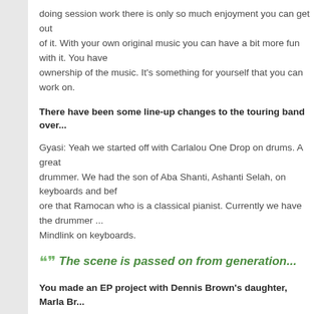doing session work there is only so much enjoyment you can get out of it. With your own original music you can have a bit more fun with it. You have ownership of the music. It's something for yourself that you can work on.
There have been some line-up changes to the touring band over...
Gyasi: Yeah we started off with Carlalou One Drop on drums. A great drummer. We had the son of Aba Shanti, Ashanti Selah, on keyboards and before that Ramocan who is a classical pianist. Currently we have the drummer ... Mindlink on keyboards.
The scene is passed on from generation...
You made an EP project with Dennis Brown's daughter, Marla Br...
Gyasi: Yeah Marla she lives round the corner from us.